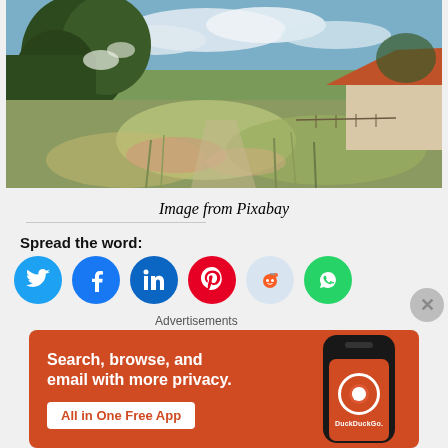[Figure (illustration): Impressionist painting showing a wild meadow path with lush green trees on the left, wildflowers and tall grasses in the foreground, and a farmhouse with an orange-red roof in the background under a cloudy sky.]
Image from Pixabay
Spread the word:
[Figure (infographic): Row of social media share buttons: Twitter (blue), Facebook (blue), LinkedIn (dark blue), Pinterest (red), Reddit (light blue), WhatsApp (green)]
Advertisements
[Figure (screenshot): DuckDuckGo advertisement banner with orange background. Text: Search, browse, and email with more privacy. All in One Free App. Shows a phone with DuckDuckGo logo.]